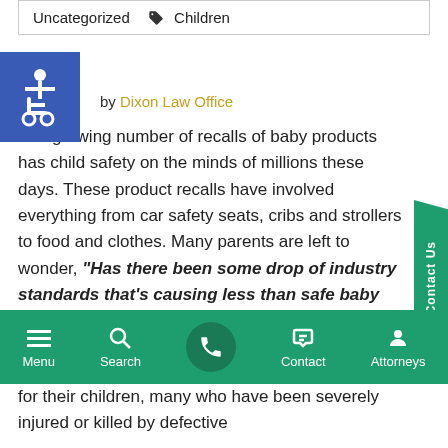Uncategorized   Children
by Dixon Law Office
[Figure (illustration): Blue square with white wheelchair accessibility icon]
The growing number of recalls of baby products has child safety on the minds of millions these days. These product recalls have involved everything from car safety seats, cribs and strollers to food and clothes. Many parents are left to wonder, "Has there been some drop of industry standards that's causing less than safe baby products?"
Menu   Search   Contact   Attorneys
for their children, many who have been severely injured or killed by defective